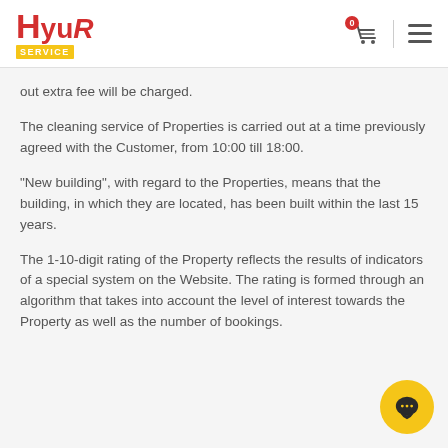Hyur Service — navigation header with cart and menu
out extra fee will be charged.
The cleaning service of Properties is carried out at a time previously agreed with the Customer, from 10:00 till 18:00.
"New building", with regard to the Properties, means that the building, in which they are located, has been built within the last 15 years.
The 1-10-digit rating of the Property reflects the results of indicators of a special system on the Website. The rating is formed through an algorithm that takes into account the level of interest towards the Property as well as the number of bookings.